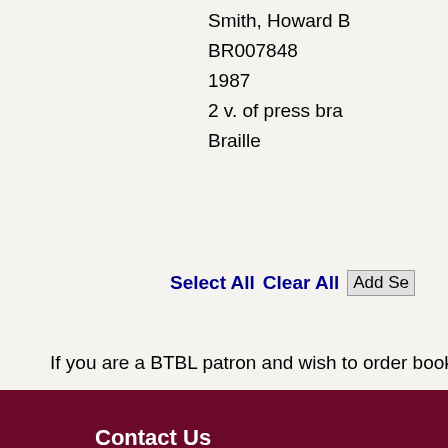Smith, Howard B
BR007848
1987
2 v. of press bra
Braille
Select All  Clear All  Add Se
If you are a BTBL patron and wish to order books via th
Contact Us
Phone: (800)952-5666 (Toll Free in CA) or (916)654-
Hours: Monday through Friday, 9:30 AM - 4:00 PM